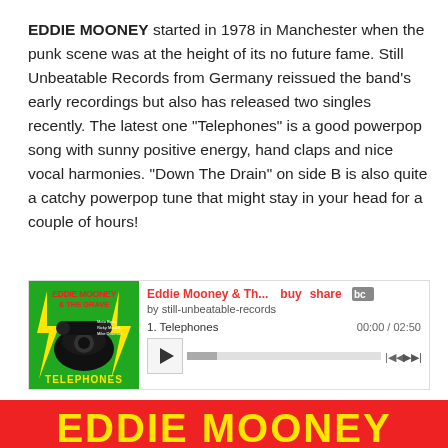EDDIE MOONEY started in 1978 in Manchester when the punk scene was at the height of its no future fame. Still Unbeatable Records from Germany reissued the band's early recordings but also has released two singles recently. The latest one "Telephones" is a good powerpop song with sunny positive energy, hand claps and nice vocal harmonies. "Down The Drain" on side B is also quite a catchy powerpop tune that might stay in your head for a couple of hours!
[Figure (screenshot): Bandcamp embedded music player showing Eddie Mooney & The Grave single 'Telephones'. Left side has album art (green background, black telephone graphic, red/yellow text). Right side shows player controls: title 'Eddie Mooney & Th...', buy/share links, 'by still-unbeatable-records', track 1 Telephones 00:00/02:50, play button, progress bar, skip controls.]
[Figure (photo): Bottom portion of a red banner image with large yellow block letters spelling EDDIE MOONEY (partially visible, cropped at page bottom).]